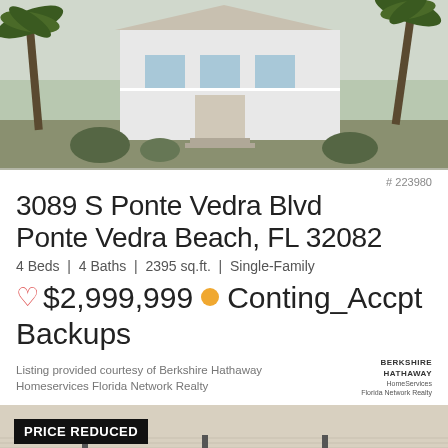[Figure (photo): Aerial/exterior view of a beach house with palm trees - two-story white wood-frame house]
# 223980
3089 S Ponte Vedra Blvd
Ponte Vedra Beach, FL 32082
4 Beds | 4 Baths | 2395 sq.ft. | Single-Family
♡ $2,999,999 • Conting_Accpt Backups
Listing provided courtesy of Berkshire Hathaway Homeservices Florida Network Realty
[Figure (photo): Interior photo showing floor-to-ceiling windows with ocean view, roman shades, with a PRICE REDUCED banner overlay]